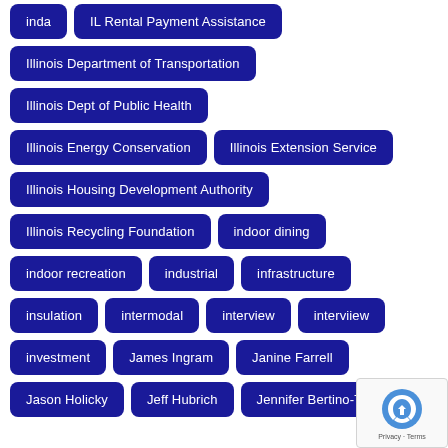inda
IL Rental Payment Assistance
Illinois Department of Transportation
Illinois Dept of Public Health
Illinois Energy Conservation
Illinois Extension Service
Illinois Housing Development Authority
Illinois Recycling Foundation
indoor dining
indoor recreation
industrial
infrastructure
insulation
intermodal
interview
interviiew
investment
James Ingram
Janine Farrell
Jason Holicky
Jeff Hubrich
Jennifer Bertino-Tarrant